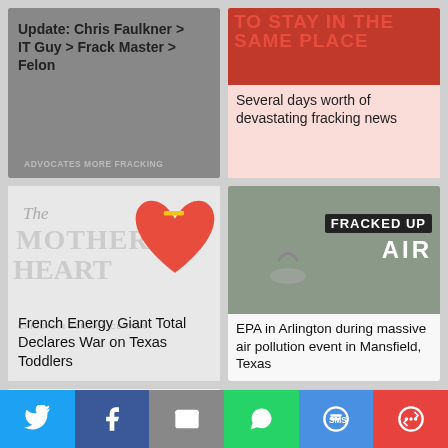[Figure (screenshot): News article card: Update: Chris Faulkner > IT Guy > Frack Master > Felon with watermark ADVOCATES MORE FRACKING]
[Figure (screenshot): News article card: Several days worth of devastating fracking news with red header background]
[Figure (screenshot): News article card: French Energy Giant Total Declares War on Texas Toddlers with book cover image]
[Figure (screenshot): News article card: EPA in Arlington during massive air pollution event in Mansfield, Texas with FRACKED UP AIR overlay]
[Figure (screenshot): News article card: More flammable water near Range Resources' Parker County fracking well with red devil horns image]
[Figure (screenshot): News article card: Fracking emissions bad enough to cause death or serious health impacts with STUPID compass image]
[Figure (screenshot): Social sharing bar with Twitter, Facebook, Email, WhatsApp, SMS, and More buttons]